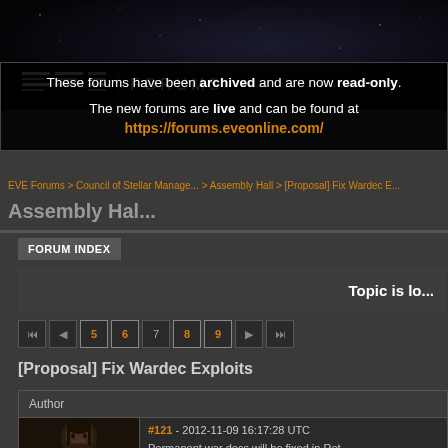[Figure (screenshot): EVE Forums header with space/starfield background]
These forums have been archived and are now read-only. The new forums are live and can be found at https://forums.eveonline.com/
EVE Forums > Council of Stellar Management > Assembly Hall > [Proposal] Fix Wardec E...
Assembly Hall
FORUM INDEX
Topic is lo...
Pagination: first, prev, 5, 6, 7, 8, 9, next, last
[Proposal] Fix Wardec Exploits
| Author | Post Content |
| --- | --- |
| [avatar image] | #121 - 2012-11-09 16:17:28 UTC
Permanent war decs will be fixed in Ret...
We have made it so that in a mutual wa... |